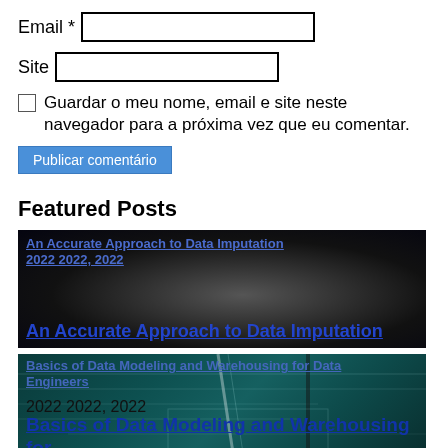Email *
Site
Guardar o meu nome, email e site neste navegador para a próxima vez que eu comentar.
Publicar comentário
Featured Posts
[Figure (screenshot): Dark featured post card with title 'An Accurate Approach to Data Imputation' shown twice - once small at top and once large at bottom, with dark navy radial gradient background]
[Figure (screenshot): Teal/cyan featured post card for 'Basics of Data Modeling and Warehousing for Data Engineers' with date '2022 2022, 2022' and title repeated large at bottom, with teal background and light streak lines]